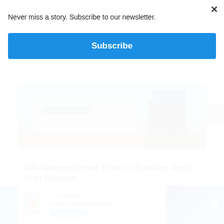Never miss a story. Subscribe to our newsletter.
Subscribe
[Figure (photo): Exterior photo of MPI (Manitoba Public Insurance) Service Centre building with teal canopy, dark signage tower, wooden fence, and blue sky.]
chrisd.ca
MPI Opening Driver Tests on Sundays Amid High Demand
6
Your world, within walking distance Register Today
TUDOR APARTMENTS